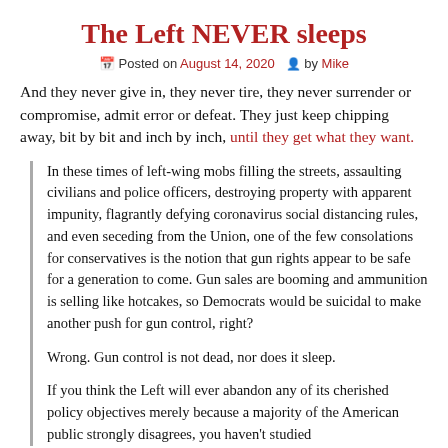The Left NEVER sleeps
📅 Posted on August 14, 2020   👤 by Mike
And they never give in, they never tire, they never surrender or compromise, admit error or defeat. They just keep chipping away, bit by bit and inch by inch, until they get what they want.
In these times of left-wing mobs filling the streets, assaulting civilians and police officers, destroying property with apparent impunity, flagrantly defying coronavirus social distancing rules, and even seceding from the Union, one of the few consolations for conservatives is the notion that gun rights appear to be safe for a generation to come. Gun sales are booming and ammunition is selling like hotcakes, so Democrats would be suicidal to make another push for gun control, right?
Wrong. Gun control is not dead, nor does it sleep.
If you think the Left will ever abandon any of its cherished policy objectives merely because a majority of the American public strongly disagrees, you haven't studied